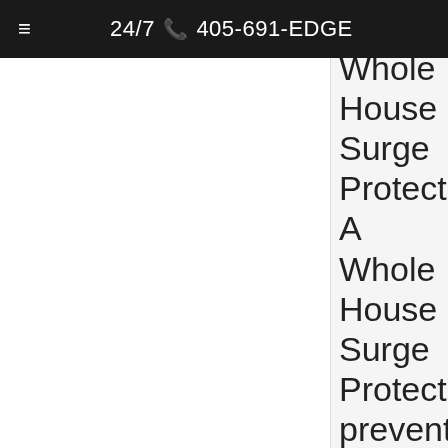≡  24/7 📞 405-691-EDGE
Whole House Surge Protection A Whole House Surge Protector prevents damage